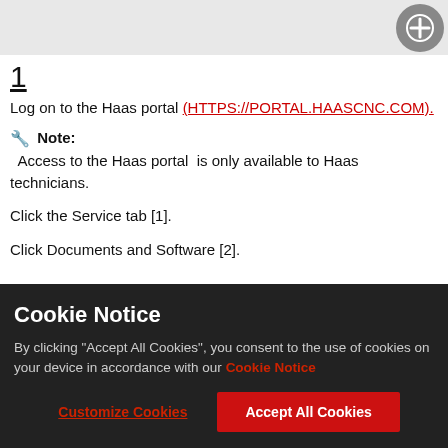[Figure (screenshot): Screenshot placeholder area with a circular plus button on the right side]
1
Log on to the Haas portal (HTTPS://PORTAL.HAASCNCCOM).
🔧 Note: Access to the Haas portal is only available to Haas technicians.
Click the Service tab [1].
Click Documents and Software [2].
Cookie Notice
By clicking "Accept All Cookies", you consent to the use of cookies on your device in accordance with our Cookie Notice
Customize Cookies | Accept All Cookies